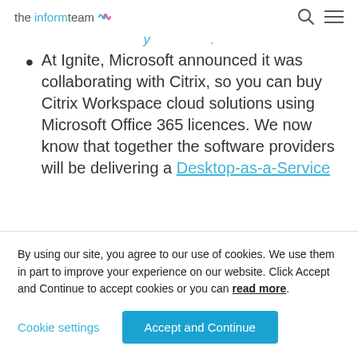the inform team [logo with waves, search icon, menu icon]
[partial cut-off text in blue/italic at top]
At Ignite, Microsoft announced it was collaborating with Citrix, so you can buy Citrix Workspace cloud solutions using Microsoft Office 365 licences. We now know that together the software providers will be delivering a Desktop-as-a-Service
By using our site, you agree to our use of cookies. We use them in part to improve your experience on our website. Click Accept and Continue to accept cookies or you can read more.
Cookie settings | Accept and Continue